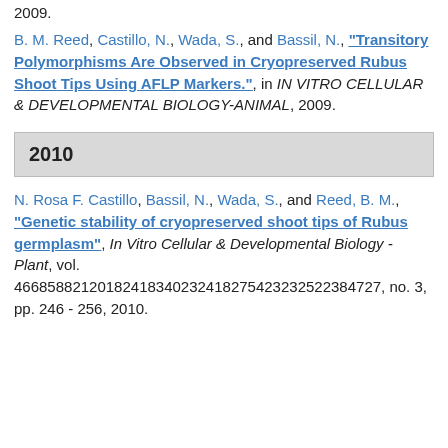2009.
B. M. Reed, Castillo, N., Wada, S., and Bassil, N., "Transitory Polymorphisms Are Observed in Cryopreserved Rubus Shoot Tips Using AFLP Markers.", in IN VITRO CELLULAR & DEVELOPMENTAL BIOLOGY-ANIMAL, 2009.
2010
N. Rosa F. Castillo, Bassil, N., Wada, S., and Reed, B. M., "Genetic stability of cryopreserved shoot tips of Rubus germplasm", In Vitro Cellular & Developmental Biology - Plant, vol. 46685882120182418340232418275423232522384727, no. 3, pp. 246 - 256, 2010.